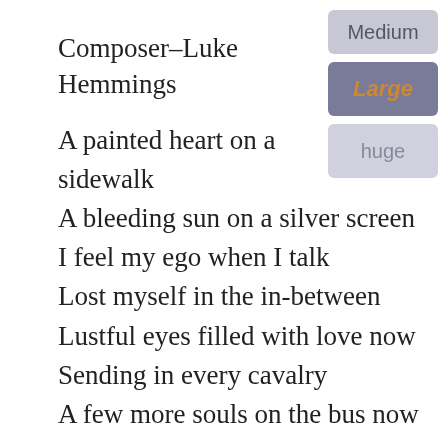Composer–Luke Hemmings
[Figure (screenshot): Font size selector UI with three buttons: Medium (grey), Large (purple/highlighted, orange text), huge (light grey)]
A painted heart on a sidewalk
A bleeding sun on a silver screen
I feel my ego when I talk
Lost myself in the in-between
Lustful eyes filled with love now
Sending in every cavalry
A few more souls on the bus now
Shut my eyes right at seventeen
Always hits me
I'm always shifting
Take my hand, now and forever